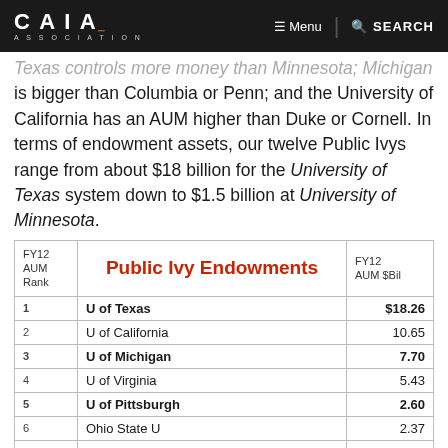CAIA ASSOCIATION | Menu | SEARCH
Texas controls more money than Minnesota; Michigan is bigger than Columbia or Penn; and the University of California has an AUM higher than Duke or Cornell. In terms of endowment assets, our twelve Public Ivys range from about $18 billion for the University of Texas system down to $1.5 billion at University of Minnesota.
| FY12 AUM Rank | Public Ivy Endowments | FY12 AUM $Bil |
| --- | --- | --- |
| 1 | U of Texas | $18.26 |
| 2 | U of California | 10.65 |
| 3 | U of Michigan | 7.70 |
| 4 | U of Virginia | 5.43 |
| 5 | U of Pittsburgh | 2.60 |
| 6 | Ohio State U | 2.37 |
| 7 | U of North Carolina | 2.18 |
| 8 | U of Washington | 2.10 |
| 9 | Pennsylvania State U | 1.77 |
| 10 | U of Illinois | 1.65 |